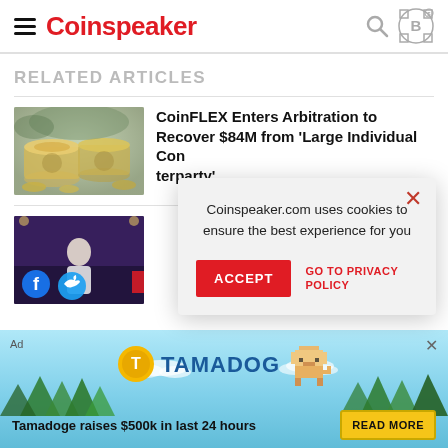Coinspeaker
RELATED ARTICLES
[Figure (photo): Dollar bills rolled up standing in coins/water]
CoinFLEX Enters Arbitration to Recover $84M from 'Large Individual Counterparty'
[Figure (photo): Person at conference with Facebook and Twitter logos overlaid]
Coinspeaker.com uses cookies to ensure the best experience for you
ACCEPT   GO TO PRIVACY POLICY
[Figure (other): Tamadoge advertisement banner — Tamadoge raises $500k in last 24 hours. READ MORE button.]